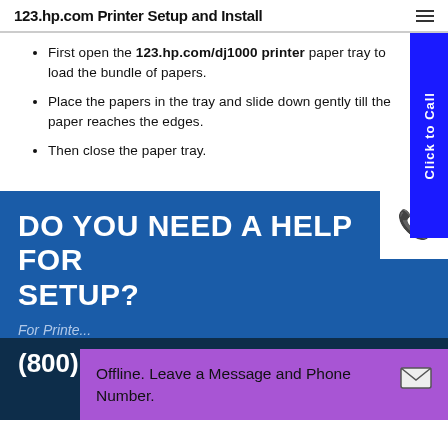123.hp.com Printer Setup and Install
First open the 123.hp.com/dj1000 printer paper tray to load the bundle of papers.
Place the papers in the tray and slide down gently till the paper reaches the edges.
Then close the paper tray.
DO YOU NEED A HELP FOR SETUP?
For Printer
(800) 874
Offline. Leave a Message and Phone Number.